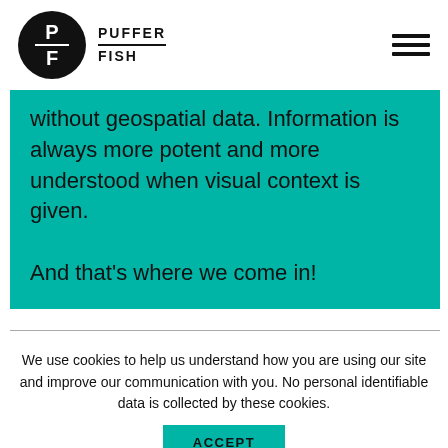PUFFER FISH
without geospatial data. Information is always more potent and more understood when visual context is given.

And that's where we come in!
We use cookies to help us understand how you are using our site and improve our communication with you. No personal identifiable data is collected by these cookies.
ACCEPT